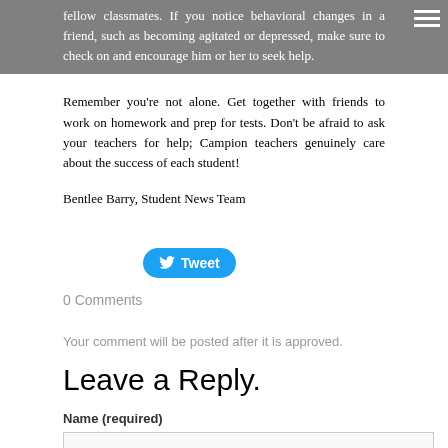fellow classmates. If you notice behavioral changes in a friend, such as becoming agitated or depressed, make sure to check on and encourage him or her to seek help.
Remember you're not alone. Get together with friends to work on homework and prep for tests. Don't be afraid to ask your teachers for help; Campion teachers genuinely care about the success of each student!
Bentlee Barry, Student News Team
[Figure (other): Tweet button (Twitter/X share button, blue rounded rectangle with bird icon and 'Tweet' text)]
0 Comments
Your comment will be posted after it is approved.
Leave a Reply.
Name (required)
Email (not published)